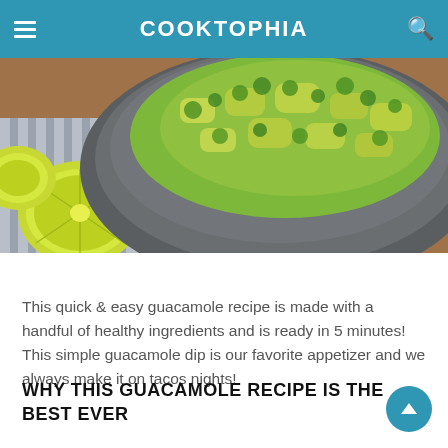COOKTOPHIA
[Figure (photo): A stone mortar bowl filled with fresh guacamole and cilantro, with halved limes on a striped cloth beside it. A partially visible label reads 'My Kitchen Recip...']
This quick & easy guacamole recipe is made with a handful of healthy ingredients and is ready in 5 minutes! This simple guacamole dip is our favorite appetizer and we always make it on tacos nights!
WHY THIS GUACAMOLE RECIPE IS THE BEST EVER